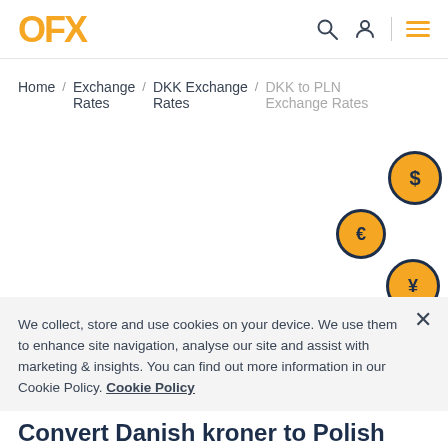OFX
Home / Exchange Rates / DKK Exchange Rates / DKK to PLN Exchange Rates
[Figure (illustration): Three circular currency coin icons with dark navy border and orange background: dollar sign ($), euro sign (€), and yen sign (¥), arranged in a diagonal pattern on the right side of the page.]
We collect, store and use cookies on your device. We use them to enhance site navigation, analyse our site and assist with marketing & insights. You can find out more information in our Cookie Policy. Cookie Policy
Convert Danish kroner to Polish